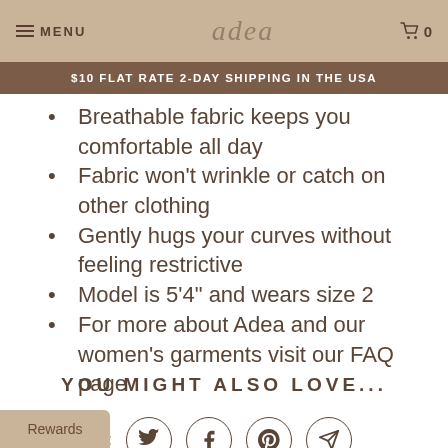MENU | adea | 0
$10 FLAT RATE 2-DAY SHIPPING IN THE USA
Breathable fabric keeps you comfortable all day
Fabric won't wrinkle or catch on other clothing
Gently hugs your curves without feeling restrictive
Model is 5'4" and wears size 2
For more about Adea and our women's garments visit our FAQ page
Share:
YOU MIGHT ALSO LOVE...